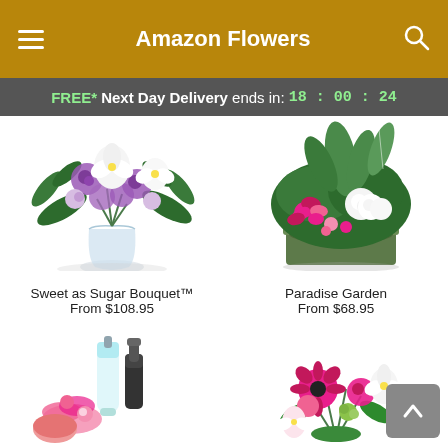Amazon Flowers
FREE* Next Day Delivery ends in: 18:00:24
[Figure (photo): Sweet as Sugar Bouquet with purple roses and white lilies in a glass vase]
[Figure (photo): Paradise Garden with pink cyclamen and white flowers in a green planter]
Sweet as Sugar Bouquet™
From $108.95
Paradise Garden
From $68.95
[Figure (photo): Spa/beauty products including lotion bottle, soap, and pink flowers]
[Figure (photo): Bright pink gerbera daisies, roses, and white lilies bouquet]